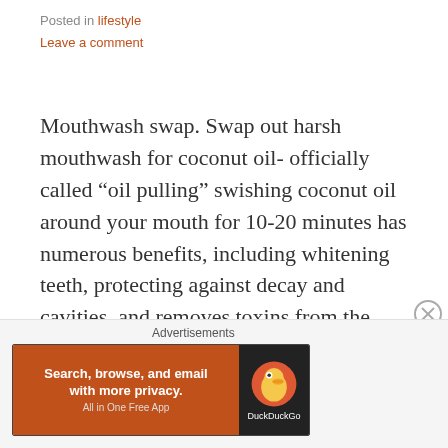Posted in lifestyle
Leave a comment
Mouthwash swap. Swap out harsh mouthwash for coconut oil- officially called “oil pulling” swishing coconut oil around your mouth for 10-20 minutes has numerous benefits, including whitening teeth, protecting against decay and cavities, and removes toxins from the body. Be sure not to swallow any, as this would simply be reintroducing the toxins to your...... Continue reading
[Figure (other): DuckDuckGo advertisement banner: orange section with text 'Search, browse, and email with more privacy. All in One Free App' and dark section with DuckDuckGo duck logo]